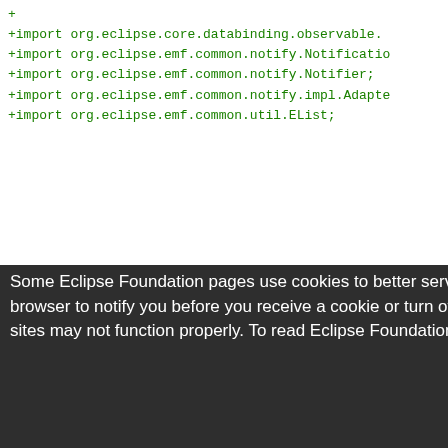[Figure (screenshot): Code diff view showing green '+import' lines for Eclipse EMF packages on a white background]
Some Eclipse Foundation pages use cookies to better serve you when you return to the site. You can set your browser to notify you before you receive a cookie or turn off cookies. If you do so, however, some areas of some sites may not function properly. To read Eclipse Foundation Privacy Policy click here.